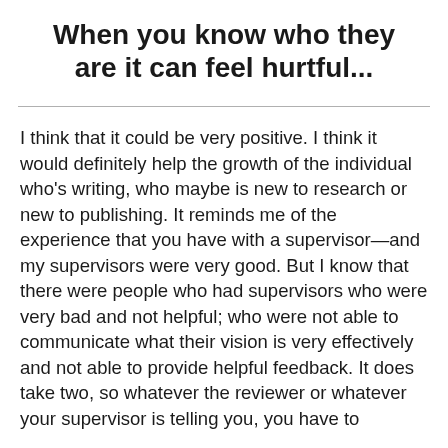When you know who they are it can feel hurtful...
I think that it could be very positive. I think it would definitely help the growth of the individual who's writing, who maybe is new to research or new to publishing. It reminds me of the experience that you have with a supervisor—and my supervisors were very good. But I know that there were people who had supervisors who were very bad and not helpful; who were not able to communicate what their vision is very effectively and not able to provide helpful feedback. It does take two, so whatever the reviewer or whatever your supervisor is telling you, you have to